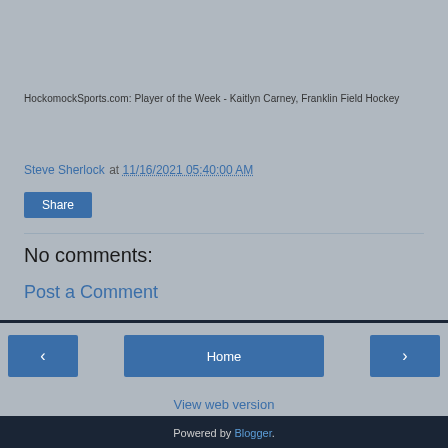HockomockSports.com: Player of the Week - Kaitlyn Carney, Franklin Field Hockey
Steve Sherlock at 11/16/2021 05:40:00 AM
Share
No comments:
Post a Comment
Home
View web version
Powered by Blogger.